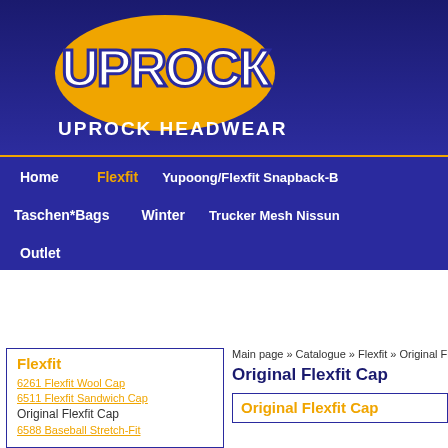[Figure (logo): Uprock Headwear logo with graffiti-style text on yellow oval, dark blue background]
UPROCK HEADWEAR
Home | Flexfit | Yupoong/Flexfit Snapback-B
Taschen*Bags | Winter | Trucker Mesh Nissun
Outlet
Flexfit
Original Flexfit Cap
Main page » Catalogue » Flexfit » Original Flexfit Cap
Original Flexfit Cap
Original Flexfit Cap